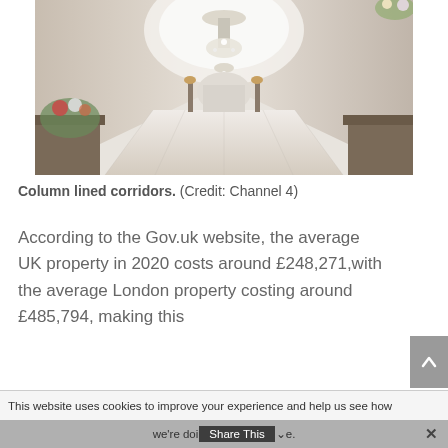[Figure (photo): Interior corridor of a grand building with white arched ceilings, crystal chandeliers, marble floors, and columns lining the hallway. A flower arrangement is visible in the foreground left.]
Column lined corridors.  (Credit: Channel 4)
According to the Gov.uk website, the average UK property in 2020 costs around £248,271,with the average London property costing around £485,794,  making this
This website uses cookies to improve your experience and help us see how
we're doing.  Share This  Me.  ×